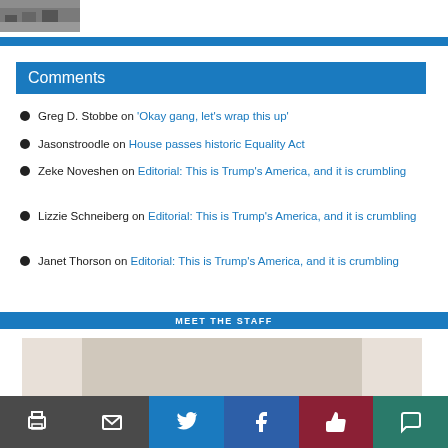[Figure (photo): Small thumbnail image of a classroom or cafeteria scene in top left corner]
Comments
Greg D. Stobbe on 'Okay gang, let's wrap this up'
Jasonstroodle on House passes historic Equality Act
Zeke Noveshen on Editorial: This is Trump's America, and it is crumbling
Lizzie Schneiberg on Editorial: This is Trump's America, and it is crumbling
Janet Thorson on Editorial: This is Trump's America, and it is crumbling
MEET THE STAFF
[Figure (photo): Staff photo placeholder image, partially visible at bottom]